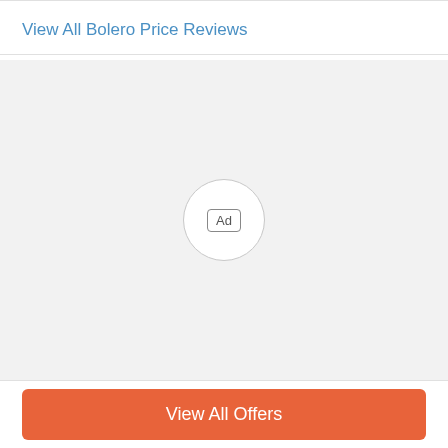View All Bolero Price Reviews
[Figure (other): Advertisement placeholder area with a circular 'Ad' badge in the center on a light gray background]
View All Offers